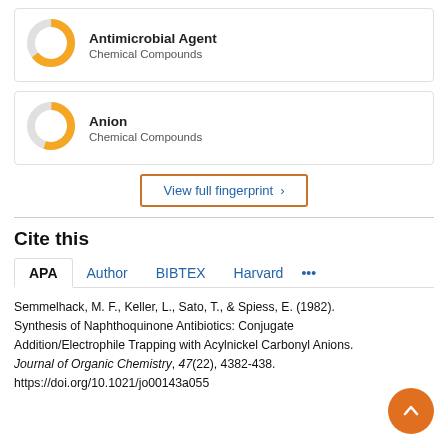[Figure (donut-chart): Donut chart showing partial fill (approx 65%) in orange for Antimicrobial Agent, Chemical Compounds]
Antimicrobial Agent
Chemical Compounds
[Figure (donut-chart): Donut chart showing partial fill (approx 55%) in orange for Anion, Chemical Compounds]
Anion
Chemical Compounds
View full fingerprint >
Cite this
APA  Author  BIBTEX  Harvard  ...
Semmelhack, M. F., Keller, L., Sato, T., & Spiess, E. (1982). Synthesis of Naphthoquinone Antibiotics: Conjugate Addition/Electrophile Trapping with Acylnickel Carbonyl Anions. Journal of Organic Chemistry, 47(22), 4382-438. https://doi.org/10.1021/jo00143a055